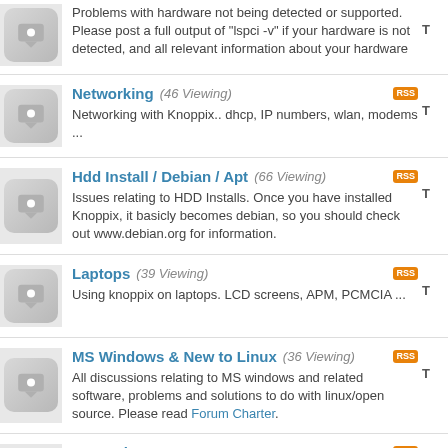Problems with hardware not being detected or supported. Please post a full output of "lspci -v" if your hardware is not detected, and all relevant information about your hardware
Networking (46 Viewing) — Networking with Knoppix.. dhcp, IP numbers, wlan, modems ...
Hdd Install / Debian / Apt (66 Viewing) — Issues relating to HDD Installs. Once you have installed Knoppix, it basicly becomes debian, so you should check out www.debian.org for information.
Laptops (39 Viewing) — Using knoppix on laptops. LCD screens, APM, PCMCIA ...
MS Windows & New to Linux (36 Viewing) — All discussions relating to MS windows and related software, problems and solutions to do with linux/open source. Please read Forum Charter.
General Support (196 Viewing) — General Knoppix support for those who've read the FAQ at the Wiki
Customising & Remastering (68 Viewing) — Want to make your own Knoppix CD? Already remastered your cd - tell us about it!